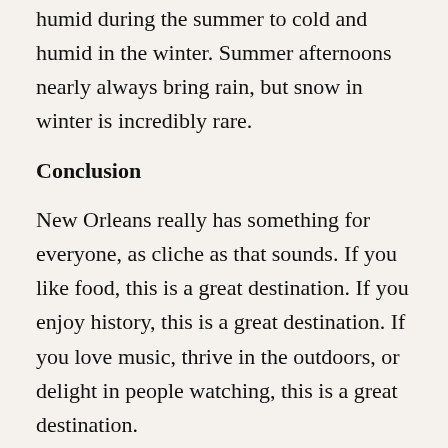humid during the summer to cold and humid in the winter. Summer afternoons nearly always bring rain, but snow in winter is incredibly rare.
Conclusion
New Orleans really has something for everyone, as cliche as that sounds. If you like food, this is a great destination. If you enjoy history, this is a great destination. If you love music, thrive in the outdoors, or delight in people watching, this is a great destination.
I hope you enjoy your New Orleans adventure!
About Blacki...